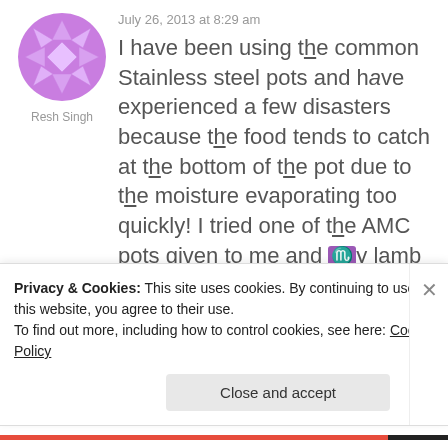[Figure (illustration): Purple avatar icon with geometric snowflake/star pattern design]
Resh Singh
July 26, 2013 at 8:29 am
I have been using the common Stainless steel pots and have experienced a few disasters because the food tends to catch at the bottom of the pot due to the moisture evaporating too quickly! I tried one of the AMC pots given to me and my lamb curry turned out Perfect!! I did not need to put in water as it retained the water and there was
Privacy & Cookies: This site uses cookies. By continuing to use this website, you agree to their use.
To find out more, including how to control cookies, see here: Cookie Policy
Close and accept